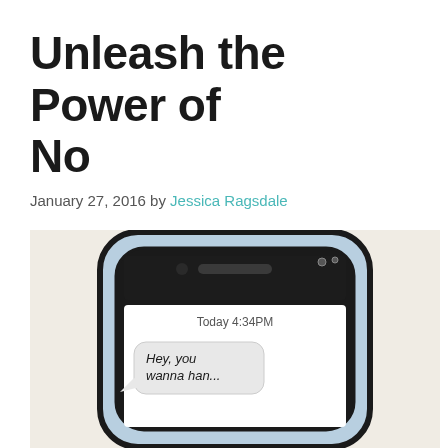Unleash the Power of No
January 27, 2016 by Jessica Ragsdale
[Figure (illustration): Hand-drawn illustration of a smartphone showing a text message conversation. The phone has a blue-shaded body with rounded corners, a front-facing camera and speaker at the top, and a text message screen showing 'Today 4:34PM' with a speech bubble containing 'Hey, you wanna han...']